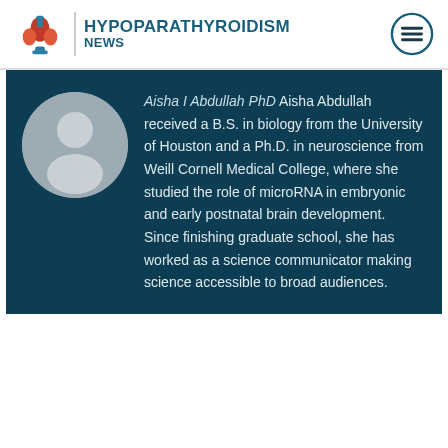[Figure (logo): Hypoparathyroidism News logo with thyroid gland icon in red/orange and teal text]
Aisha I Abdullah PhD Aisha Abdullah received a B.S. in biology from the University of Houston and a Ph.D. in neuroscience from Weill Cornell Medical College, where she studied the role of microRNA in embryonic and early postnatal brain development. Since finishing graduate school, she has worked as a science communicator making science accessible to broad audiences.